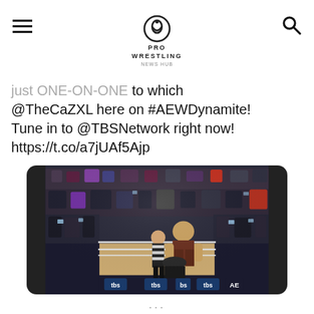PRO WRESTLING NEWS HUB
just ONE-ON-ONE to which @TheCaZXL here on #AEWDynamite! Tune in to @TBSNetwork right now! https://t.co/a7jUAf5Ajp
[Figure (photo): Wrestling match scene at an AEW Dynamite event on TBS. A large crowd of fans fills the arena background. In the ring, two wrestlers and a referee are visible. The ring apron shows repeated 'tbs' logos along the bottom. The arena is dark with bright ring lighting.]